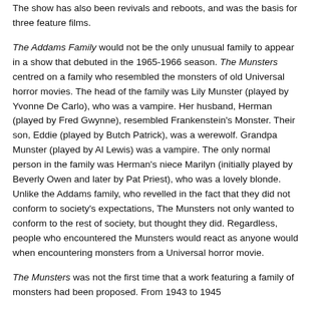The show has also been revivals and reboots, and was the basis for three feature films.
The Addams Family would not be the only unusual family to appear in a show that debuted in the 1965-1966 season. The Munsters centred on a family who resembled the monsters of old Universal horror movies. The head of the family was Lily Munster (played by Yvonne De Carlo), who was a vampire. Her husband, Herman (played by Fred Gwynne), resembled Frankenstein's Monster. Their son, Eddie (played by Butch Patrick), was a werewolf. Grandpa Munster (played by Al Lewis) was a vampire. The only normal person in the family was Herman's niece Marilyn (initially played by Beverly Owen and later by Pat Priest), who was a lovely blonde. Unlike the Addams family, who revelled in the fact that they did not conform to society's expectations, The Munsters not only wanted to conform to the rest of society, but thought they did. Regardless, people who encountered the Munsters would react as anyone would when encountering monsters from a Universal horror movie.
The Munsters was not the first time that a work featuring a family of monsters had been proposed. From 1943 to 1945